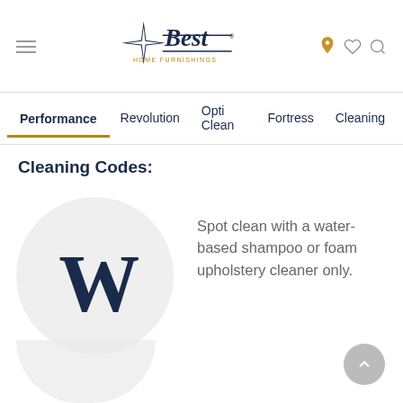[Figure (logo): Best Home Furnishings logo with star/compass design]
Performance | Revolution | Opti Clean | Fortress | Cleaning
Cleaning Codes:
[Figure (infographic): Circle with large W letter representing water-based cleaning code]
Spot clean with a water-based shampoo or foam upholstery cleaner only.